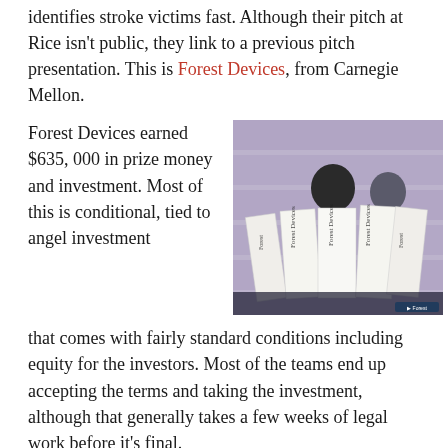identifies stroke victims fast. Although their pitch at Rice isn't public, they link to a previous pitch presentation. This is Forest Devices, from Carnegie Mellon.
Forest Devices earned $635,000 in prize money and investment. Most of this is conditional, tied to angel investment
[Figure (photo): Two people holding large ceremonial prize checks for Forest Devices at a business plan competition. The checks show various prize amounts totaling $635,000.]
that comes with fairly standard conditions including equity for the investors. Most of the teams end up accepting the terms and taking the investment, although that generally takes a few weeks of legal work before it's final.